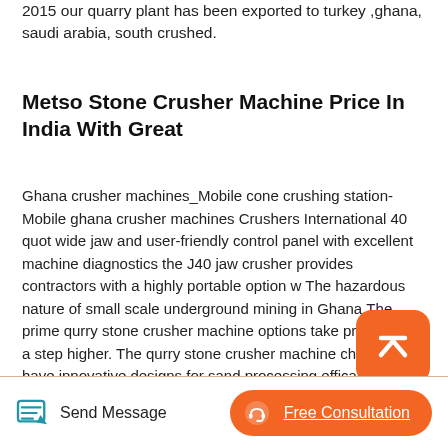2015 our quarry plant has been exported to turkey ,ghana, saudi arabia, south crushed.
Metso Stone Crusher Machine Price In India With Great
Ghana crusher machines_Mobile cone crushing station-Mobile ghana crusher machines Crushers International 40 quot wide jaw and user-friendly control panel with excellent machine diagnostics the J40 jaw crusher provides contractors with a highly portable option w The hazardous nature of small scale underground mining in Ghana.The prime qurry stone crusher machine options take productivity a step higher. The qurry stone crusher machine choices have innovative designs for sand processing efficacy.
Send Message   Free Consultation